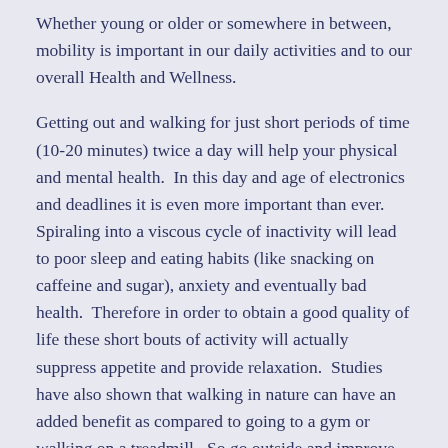Whether young or older or somewhere in between, mobility is important in our daily activities and to our overall Health and Wellness.
Getting out and walking for just short periods of time (10-20 minutes) twice a day will help your physical and mental health.  In this day and age of electronics and deadlines it is even more important than ever.  Spiraling into a viscous cycle of inactivity will lead to poor sleep and eating habits (like snacking on caffeine and sugar), anxiety and eventually bad health.  Therefore in order to obtain a good quality of life these short bouts of activity will actually suppress appetite and provide relaxation.  Studies have also shown that walking in nature can have an added benefit as compared to going to a gym or walking on a treadmill.  So go outside and improve your quality of life, one step at a time.
Therefore this content of blog writing concerns overall th...